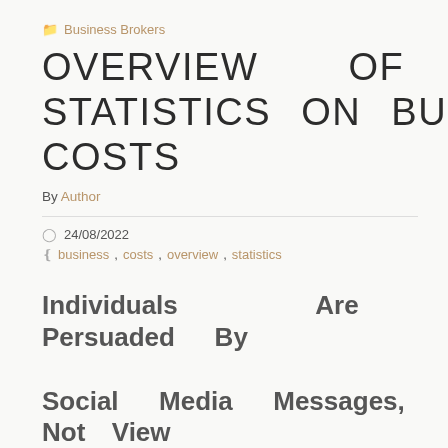Business Brokers
OVERVIEW OF BLS STATISTICS ON BUSINESS COSTS
By Author
24/08/2022
business, costs, overview, statistics
Individuals Are Persuaded By Social Media Messages, Not View Nu...